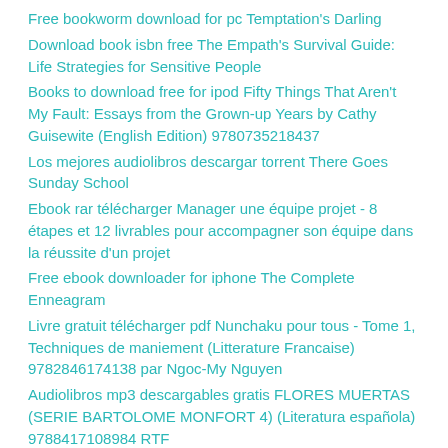Free bookworm download for pc Temptation's Darling
Download book isbn free The Empath's Survival Guide: Life Strategies for Sensitive People
Books to download free for ipod Fifty Things That Aren't My Fault: Essays from the Grown-up Years by Cathy Guisewite (English Edition) 9780735218437
Los mejores audiolibros descargar torrent There Goes Sunday School
Ebook rar télécharger Manager une équipe projet - 8 étapes et 12 livrables pour accompagner son équipe dans la réussite d'un projet
Free ebook downloader for iphone The Complete Enneagram
Livre gratuit télécharger pdf Nunchaku pour tous - Tome 1, Techniques de maniement (Litterature Francaise) 9782846174138 par Ngoc-My Nguyen
Audiolibros mp3 descargables gratis FLORES MUERTAS (SERIE BARTOLOME MONFORT 4) (Literatura española) 9788417108984 RTF